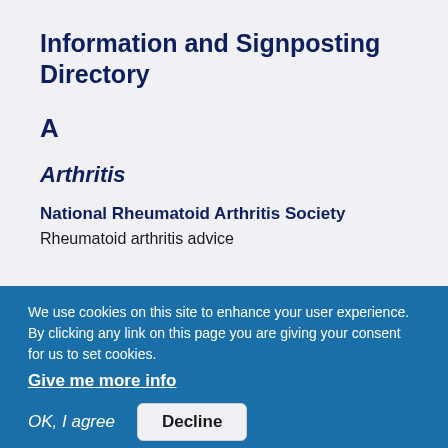Information and Signposting Directory
A
Arthritis
National Rheumatoid Arthritis Society
Rheumatoid arthritis advice
We use cookies on this site to enhance your user experience. By clicking any link on this page you are giving your consent for us to set cookies.
Give me more info
OK, I agree
Decline